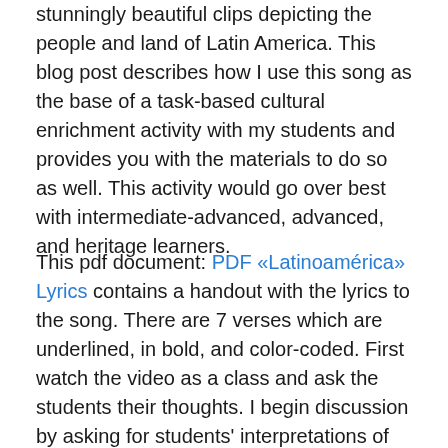stunningly beautiful clips depicting the people and land of Latin America. This blog post describes how I use this song as the base of a task-based cultural enrichment activity with my students and provides you with the materials to do so as well. This activity would go over best with intermediate-advanced, advanced, and heritage learners.
This pdf document: PDF «Latinoamérica» Lyrics contains a handout with the lyrics to the song. There are 7 verses which are underlined, in bold, and color-coded. First watch the video as a class and ask the students their thoughts. I begin discussion by asking for students' interpretations of the chorus. Now the task-based part. The selected color-coded verses are seven different references to Latin American culture and/or history, as follows:
1. "...